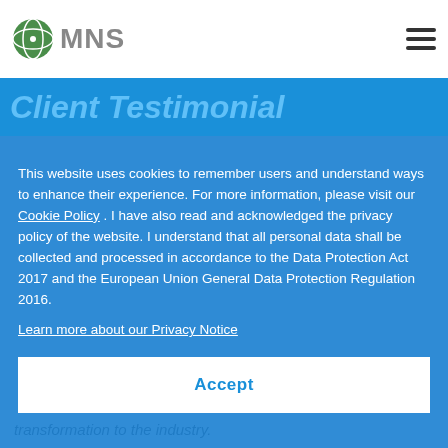MNS
Client Testimonial
This website uses cookies to remember users and understand ways to enhance their experience. For more information, please visit our Cookie Policy . I have also read and acknowledged the privacy policy of the website. I understand that all personal data shall be collected and processed in accordance to the Data Protection Act 2017 and the European Union General Data Protection Regulation 2016.
Learn more about our Privacy Notice
Accept
transformation to the industry.